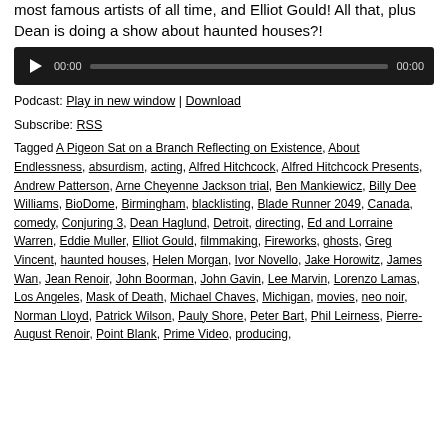most famous artists of all time, and Elliot Gould! All that, plus Dean is doing a show about haunted houses?!
[Figure (screenshot): Audio player widget with dark background, play button, time display 00:00, progress bar, and end time 00:00]
Podcast: Play in new window | Download
Subscribe: RSS
Tagged A Pigeon Sat on a Branch Reflecting on Existence, About Endlessness, absurdism, acting, Alfred Hitchcock, Alfred Hitchcock Presents, Andrew Patterson, Arne Cheyenne Jackson trial, Ben Mankiewicz, Billy Dee Williams, BioDome, Birmingham, blacklisting, Blade Runner 2049, Canada, comedy, Conjuring 3, Dean Haglund, Detroit, directing, Ed and Lorraine Warren, Eddie Muller, Elliot Gould, filmmaking, Fireworks, ghosts, Greg Vincent, haunted houses, Helen Morgan, Ivor Novello, Jake Horowitz, James Wan, Jean Renoir, John Boorman, John Gavin, Lee Marvin, Lorenzo Lamas, Los Angeles, Mask of Death, Michael Chaves, Michigan, movies, neo noir, Norman Lloyd, Patrick Wilson, Pauly Shore, Peter Bart, Phil Leirness, Pierre-August Renoir, Point Blank, Prime Video, producing,